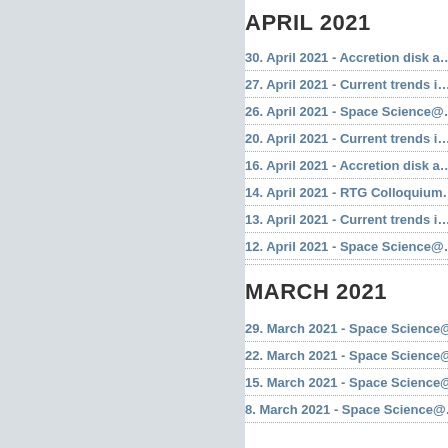APRIL 2021
30. April 2021 - Accretion disk a…
27. April 2021 - Current trends i…
26. April 2021 - Space Science@…
20. April 2021 - Current trends i…
16. April 2021 - Accretion disk a…
14. April 2021 - RTG Colloquium…
13. April 2021 - Current trends i…
12. April 2021 - Space Science@…
MARCH 2021
29. March 2021 - Space Science@…
22. March 2021 - Space Science@…
15. March 2021 - Space Science@…
8. March 2021 - Space Science@…